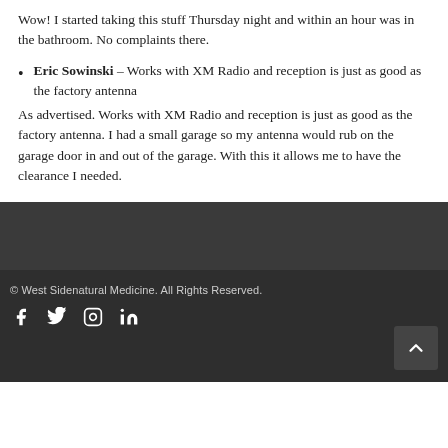Wow! I started taking this stuff Thursday night and within an hour was in the bathroom. No complaints there.
Eric Sowinski - Works with XM Radio and reception is just as good as the factory antenna
As advertised. Works with XM Radio and reception is just as good as the factory antenna. I had a small garage so my antenna would rub on the garage door in and out of the garage. With this it allows me to have the clearance I needed.
© West Sidenatural Medicine. All Rights Reserved.